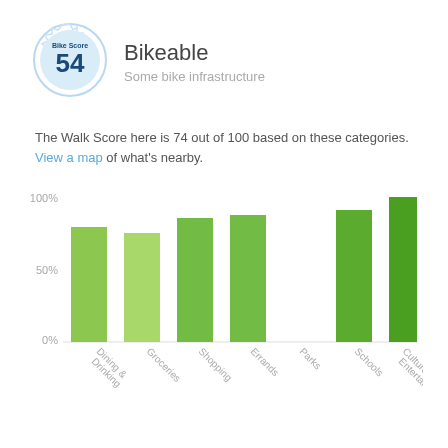[Figure (infographic): Bike Score badge showing score of 54]
Bikeable
Some bike infrastructure
The Walk Score here is 74 out of 100 based on these categories. View a map of what's nearby.
[Figure (bar-chart): Walk Score categories]